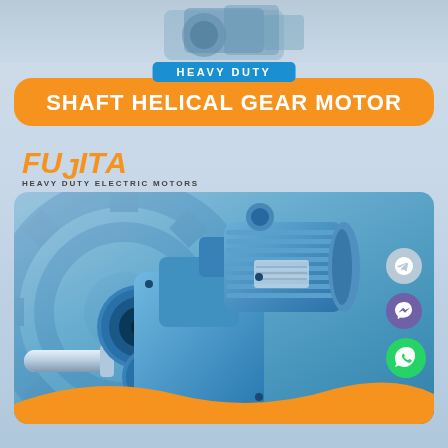[Figure (photo): Partial view of a blue helical gear motor at the top of the page]
HEAVY DUTY
SHAFT HELICAL GEAR MOTOR
[Figure (logo): FUJITA - HEAVY DUTY ELECTRIC MOTORS logo in orange italic text]
[Figure (photo): Blue shaft helical gear motor product photograph on blue gradient background with orange wave accent at bottom]
[Figure (illustration): Social media icons: Telegram, Messenger, and WhatsApp on the right side]